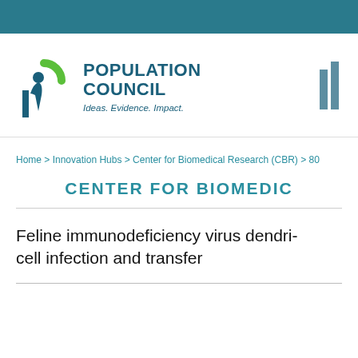[Figure (logo): Population Council logo with green arc, blue figure, and text 'POPULATION COUNCIL - Ideas. Evidence. Impact.']
Home > Innovation Hubs > Center for Biomedical Research (CBR) > 80
CENTER FOR BIOMEDICAL RESEARCH
Feline immunodeficiency virus dendri- cell infection and transfer